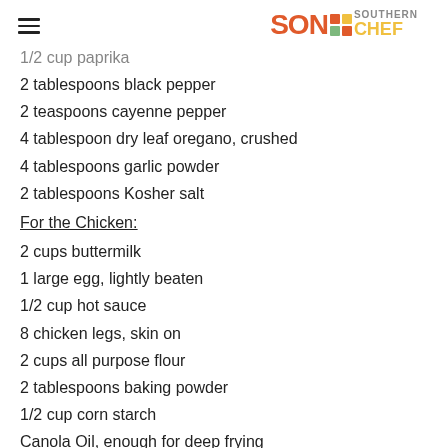SON SOUTHERN CHEF
1/2 cup paprika
2 tablespoons black pepper
2 teaspoons cayenne pepper
4 tablespoon dry leaf oregano, crushed
4 tablespoons garlic powder
2 tablespoons Kosher salt
For the Chicken:
2 cups buttermilk
1 large egg, lightly beaten
1/2 cup hot sauce
8 chicken legs, skin on
2 cups all purpose flour
2 tablespoons baking powder
1/2 cup corn starch
Canola Oil, enough for deep frying
Directions